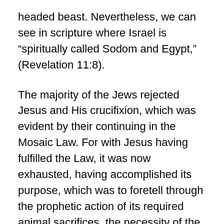headed beast. Nevertheless, we can see in scripture where Israel is “spiritualy called Sodom and Egypt,” (Revelation 11:8).
The majority of the Jews rejected Jesus and His crucifixion, which was evident by their continuing in the Mosaic Law. For with Jesus having fulfilled the Law, it was now exhausted, having accomplished its purpose, which was to foretell through the prophetic action of its required animal sacrifices, the necessity of the sacrificial death of Christ. Therefore by rejecting Jesus’s death and atoning blood, the Jews chose to remain in the decaying institution of Judaism, which was waxing old and ready to vanish away (Hebrews 8:13). For this reason Israel is now “spiritually called Sodom,” to signify how any manner of religion they now practice can be nothing more than a perversion of the truth since they lack both the temple and